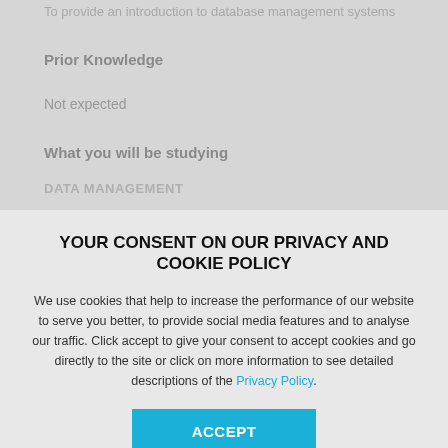To provide an introduction to database management systems
Prior Knowledge
Not expected
What you will be studying
DATA MANAGEMENT
YOUR CONSENT ON OUR PRIVACY AND COOKIE POLICY
We use cookies that help to increase the performance of our website to serve you better, to provide social media features and to analyse our traffic. Click accept to give your consent to accept cookies and go directly to the site or click on more information to see detailed descriptions of the Privacy Policy.
ACCEPT